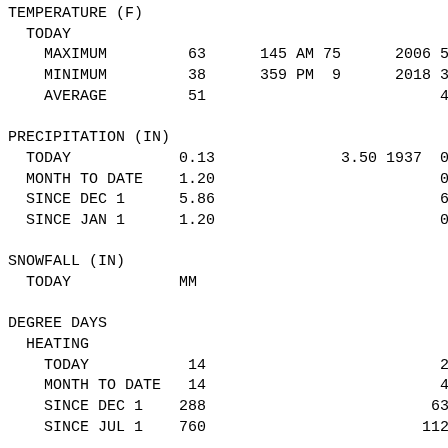TEMPERATURE (F)
  TODAY
    MAXIMUM   63   145 AM 75   2006 53
    MINIMUM   38   359 PM  9   2018 34
    AVERAGE   51                      44

PRECIPITATION (IN)
  TODAY          0.13         3.50 1937 0
  MONTH TO DATE  1.20                   0
  SINCE DEC 1    5.86                   6
  SINCE JAN 1    1.20                   0

SNOWFALL (IN)
  TODAY          MM

DEGREE DAYS
  HEATING
    TODAY         14                  21
    MONTH TO DATE 14                  42
    SINCE DEC 1  288                 636
    SINCE JUL 1  760                1128

  COOLING
    TODAY          0                   0
    MONTH TO DATE  7                   0
    SINCE DEC 1   21                   2